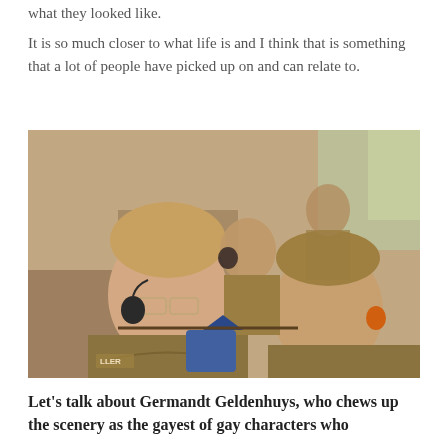what they looked like.
It is so much closer to what life is and I think that is something that a lot of people have picked up on and can relate to.
[Figure (photo): Two young men in military uniform (olive/brown) sitting on a bus or military vehicle, facing slightly toward camera. The man on the left wears glasses and has a headset; the man on the right wears an orange earpiece. Several other soldiers are visible in the background. The man on the left has a rank patch reading 'LLER'.]
Let's talk about Germandt Geldenhuys, who chews up the scenery as the gayest of gay characters who